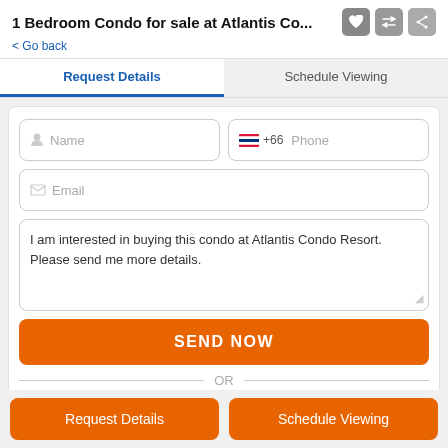1 Bedroom Condo for sale at Atlantis Co...
< Go back
Request Details
Schedule Viewing
Name
+66  Phone
Email
I am interested in buying this condo at Atlantis Condo Resort. Please send me more details.
SEND NOW
OR
Request Details
Schedule Viewing